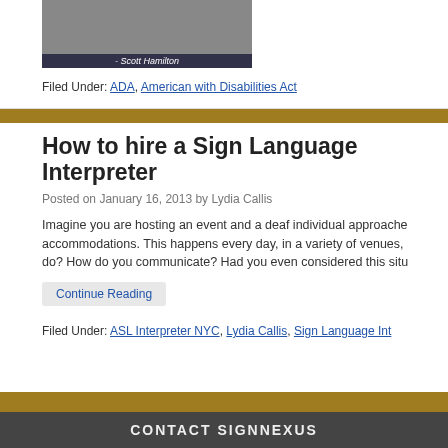[Figure (photo): Photo with caption '- Scott Hamilton' at the bottom on a dark overlay]
Filed Under: ADA, American with Disabilities Act
How to hire a Sign Language Interpreter
Posted on January 16, 2013 by Lydia Callis
Imagine you are hosting an event and a deaf individual approaches accommodations. This happens every day, in a variety of venues, do? How do you communicate? Had you even considered this situ
Continue Reading
Filed Under: ASL Interpreter NYC, Lydia Callis, Sign Language Int
CONTACT SIGNNEXUS